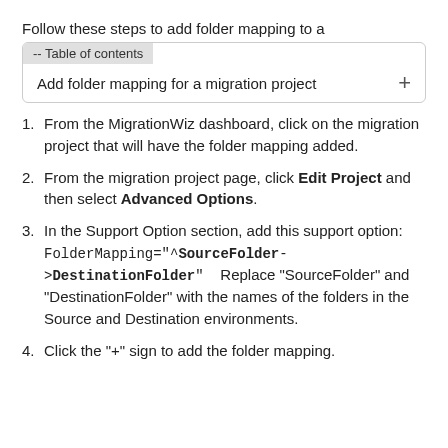Follow these steps to add folder mapping to a
| Add folder mapping for a migration project |
| --- |
From the MigrationWiz dashboard, click on the migration project that will have the folder mapping added.
From the migration project page, click Edit Project and then select Advanced Options.
In the Support Option section, add this support option: FolderMapping="^SourceFolder->DestinationFolder"    Replace "SourceFolder" and "DestinationFolder" with the names of the folders in the Source and Destination environments.
Click the "+" sign to add the folder mapping.